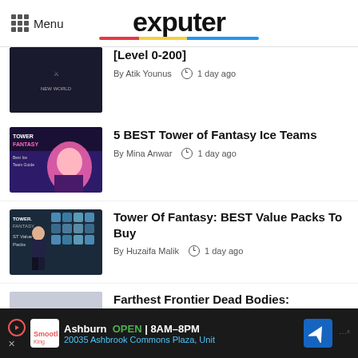Menu | exputer
[Level 0-200]
By Atik Younus  1 day ago
5 BEST Tower of Fantasy Ice Teams
By Mina Anwar  1 day ago
Tower Of Fantasy: BEST Value Packs To Buy
By Huzaifa Malik  1 day ago
Farthest Frontier Dead Bodies: Graveyard & Deaths
By Kashaf Ul Khair  1 day ago
Cult Of The Lamb: Follower Skins: How
Ashburn  OPEN | 8AM–8PM  20035 Ashbrook Commons Plaza, Unit